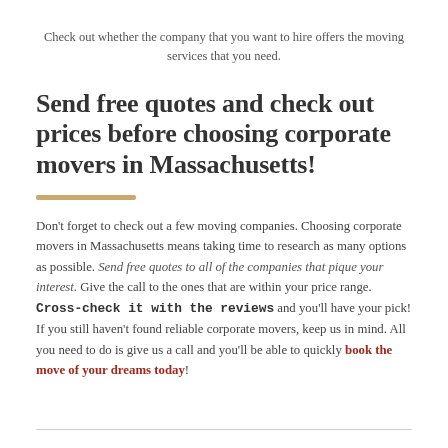Check out whether the company that you want to hire offers the moving services that you need.
Send free quotes and check out prices before choosing corporate movers in Massachusetts!
Don't forget to check out a few moving companies. Choosing corporate movers in Massachusetts means taking time to research as many options as possible. Send free quotes to all of the companies that pique your interest. Give the call to the ones that are within your price range. Cross-check it with the reviews and you'll have your pick! If you still haven't found reliable corporate movers, keep us in mind. All you need to do is give us a call and you'll be able to quickly book the move of your dreams today!